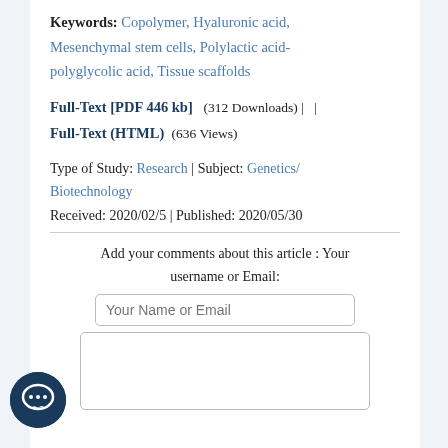Keywords: Copolymer, Hyaluronic acid, Mesenchymal stem cells, Polylactic acid-polyglycolic acid, Tissue scaffolds
Full-Text [PDF 446 kb]  (312 Downloads) |   |  Full-Text (HTML)  (636 Views)
Type of Study: Research | Subject: Genetics/Biotechnology
Received: 2020/02/5 | Published: 2020/05/30
Add your comments about this article : Your username or Email: